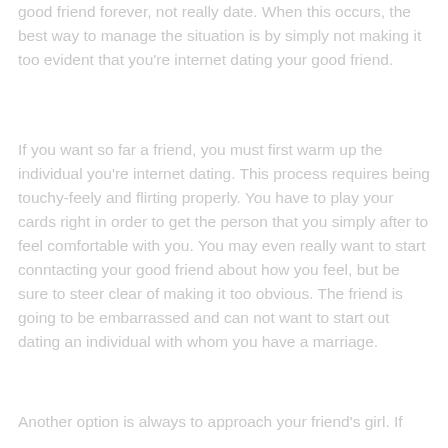good friend forever, not really date. When this occurs, the best way to manage the situation is by simply not making it too evident that you're internet dating your good friend.
If you want so far a friend, you must first warm up the individual you're internet dating. This process requires being touchy-feely and flirting properly. You have to play your cards right in order to get the person that you simply after to feel comfortable with you. You may even really want to start conntacting your good friend about how you feel, but be sure to steer clear of making it too obvious. The friend is going to be embarrassed and can not want to start out dating an individual with whom you have a marriage.
Another option is always to approach your friend's girl. If